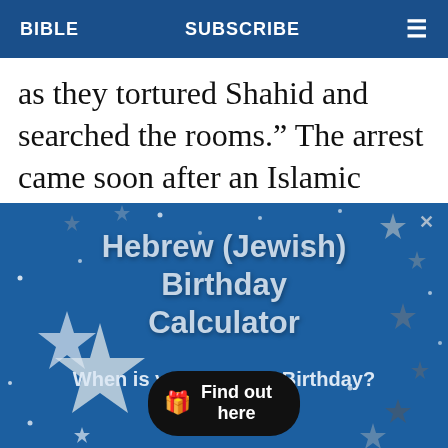BIBLE   SUBSCRIBE   ≡
as they tortured Shahid and searched the rooms.”  The arrest came soon after an Islamic cleric had registered a
[Figure (infographic): Hebrew (Jewish) Birthday Calculator advertisement banner with stars on blue background. Text: 'Hebrew (Jewish) Birthday Calculator', 'When is your Hebrew Birthday?', 'Find out here' button with gift icon. Close (X) button in top right.]